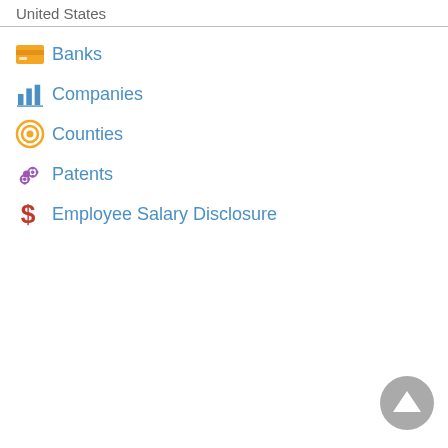United States
Banks
Companies
Counties
Patents
Employee Salary Disclosure
[Figure (illustration): Back to top circular button with upward-pointing arrow, grey background]